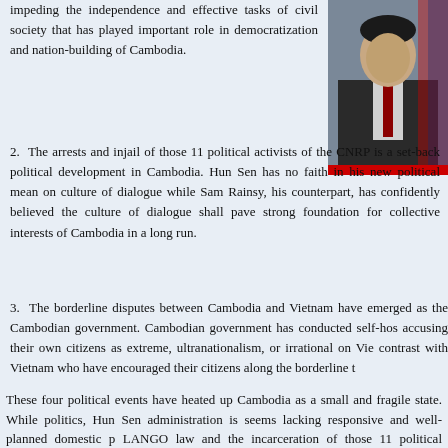impeding the independence and effective tasks of civil society that has played important role in democratization and nation-building of Cambodia.
[Figure (photo): Photo of a person in formal attire, partially visible in top right corner]
2.  The arrests and injail of those 11 political activists of the CNRP is a set-back political development in Cambodia. Hun Sen has no faith in his new political mean on culture of dialogue while Sam Rainsy, his counterpart, has confidently believed the culture of dialogue shall pave strong foundation for collective interests of Cambodia in a long run.
3.  The borderline disputes between Cambodia and Vietnam have emerged as the Cambodian government. Cambodian government has conducted self-hos accusing their own citizens as extreme, ultranationalism, or irrational on Vie contrast with Vietnam who have encouraged their citizens along the borderline t
4.  International geopolitics changes among those superpower countries is very with Obama administration has enabled Vietnam a boost in strategy to confro Other Obama's friends will approve the concert. Hence, Cambodia has move trauma if Cambodia is not managing this triangle relationship properly.
These four political events have heated up Cambodia as a small and fragile state. While politics, Hun Sen administration is seems lacking responsive and well-planned domestic p LANGO law and the incarceration of those 11 political activists are showing Hun Sen's non-v geopolitics tension.